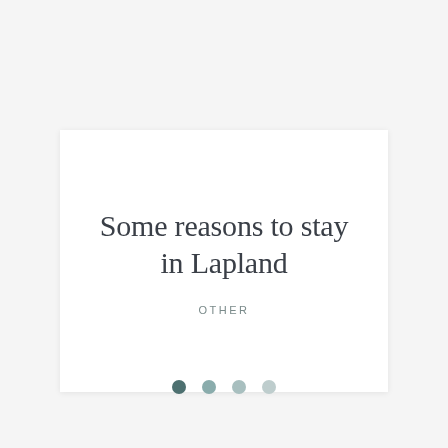Some reasons to stay in Lapland
OTHER
[Figure (other): Four pagination dots in decreasing intensity of teal/grey color, indicating a slideshow or carousel position indicator]